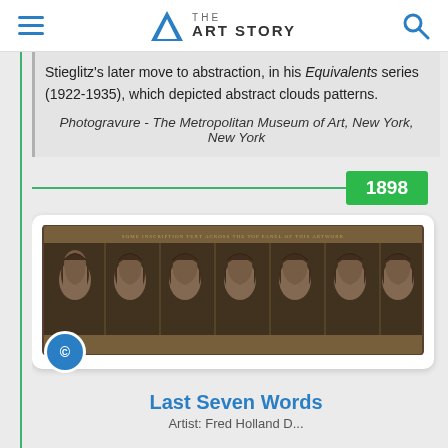THE ART STORY
Stieglitz's later move to abstraction, in his Equivalents series (1922-1935), which depicted abstract clouds patterns.
Photogravure - The Metropolitan Museum of Art, New York, New York
1898
[Figure (photo): Photogravure strip showing seven repeated portrait heads of a figure with long hair, displayed in a horizontal panoramic format.]
Last Seven Words
Artist: Fred Holland D...